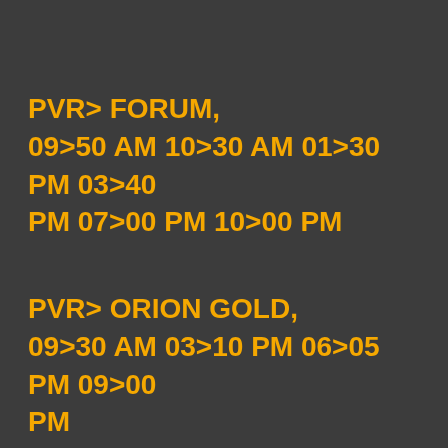PVR> FORUM, 09>50 AM 10>30 AM 01>30 PM 03>40 PM 07>00 PM 10>00 PM
PVR> ORION GOLD, 09>30 AM 03>10 PM 06>05 PM 09>00 PM